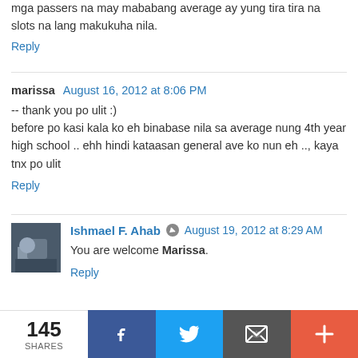mga passers na may mababang average ay yung tira tira na slots na lang makukuha nila.
Reply
marissa  August 16, 2012 at 8:06 PM
-- thank you po ulit :)
before po kasi kala ko eh binabase nila sa average nung 4th year high school .. ehh hindi kataasan general ave ko nun eh .., kaya tnx po ulit
Reply
Ishmael F. Ahab  August 19, 2012 at 8:29 AM
You are welcome Marissa.
Reply
[Figure (infographic): Bottom share bar with 145 SHARES count, Facebook button, Twitter button, email button, and plus button]